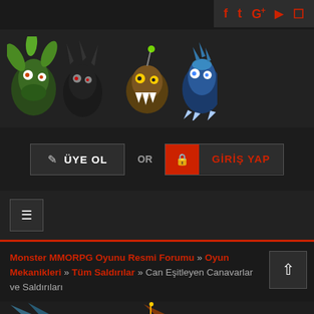[Figure (screenshot): Social media icons bar: Facebook, Twitter, Google+, YouTube, Instagram in red]
[Figure (illustration): Monster MMORPG game logo with fantasy monster characters]
ÜYE OL  OR  GİRİŞ YAP
[Figure (screenshot): Hamburger menu button]
Monster MMORPG Oyunu Resmi Forumu » Oyun Mekanikleri » Tüm Saldırılar » Can Eşitleyen Canavarlar ve Saldırıları
[Figure (illustration): Partial monster illustrations at the bottom edge]